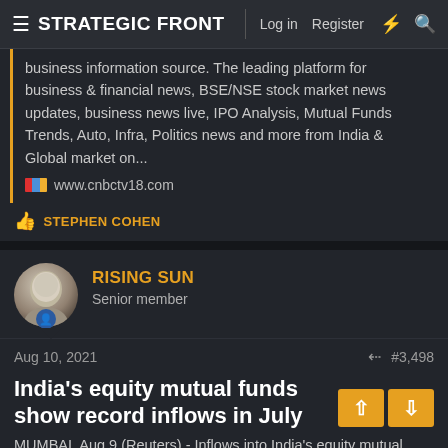STRATEGIC FRONT — Log in  Register
business information source. The leading platform for business & financial news, BSE/NSE stock market news updates, business news live, IPO Analysis, Mutual Funds Trends, Auto, Infra, Politics news and more from India & Global market on...
www.cnbctv18.com
👍 STEPHEN COHEN
RISING SUN
Senior member
Aug 10, 2021  #3,498
India's equity mutual funds show record inflows in July
MUMBAI, Aug 9 (Reuters) - Inflows into India's equity mutual